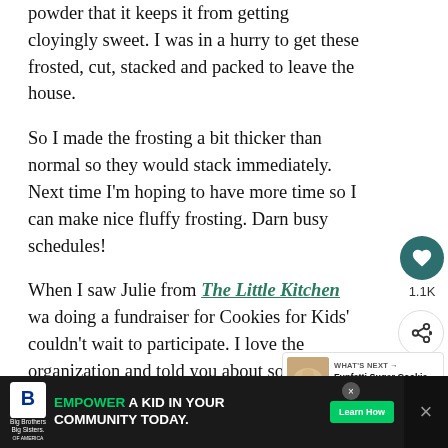powder that it keeps it from getting cloyingly sweet.  I was in a hurry to get these frosted, cut, stacked and packed to leave the house.
So I made the frosting a bit thicker than normal so they would stack immediately. Next time I'm hoping to have more time so I can make nice fluffy frosting. Darn busy schedules!
When I  saw Julie from The Little Kitchen was doing a fundraiser for Cookies for Kids' Cancer, I couldn't wait to participate. I love the organization and told you about some of the
[Figure (screenshot): Social media like button (heart icon in teal circle) with count 1.1K and share button below]
[Figure (screenshot): What's Next widget showing thumbnail image and text 'Funfetti Sugar Cookie Bars']
[Figure (screenshot): Advertisement banner: Big Brothers Big Sisters logo, text 'EMPOWER A KID IN YOUR COMMUNITY TODAY.' with green Learn How button]